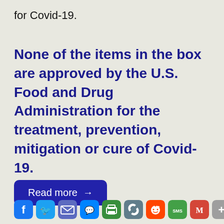for Covid-19.
None of the items in the box are approved by the U.S. Food and Drug Administration for the treatment, prevention, mitigation or cure of Covid-19.
Read more →
[Figure (infographic): Social media sharing buttons: Facebook, Twitter, Email, Messenger, Print, Link, Reddit, SMS, Gmail, More]